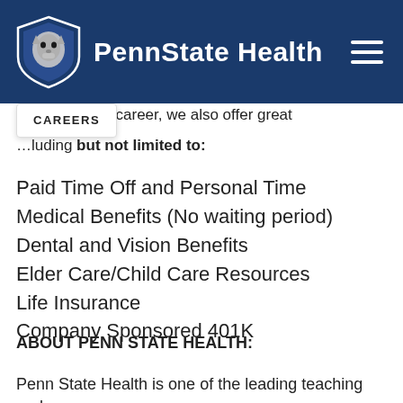PennState Health
…a rewarding career, we also offer great …luding but not limited to:
Paid Time Off and Personal Time
Medical Benefits (No waiting period)
Dental and Vision Benefits
Elder Care/Child Care Resources
Life Insurance
Company Sponsored 401K
ABOUT PENN STATE HEALTH:
Penn State Health is one of the leading teaching and